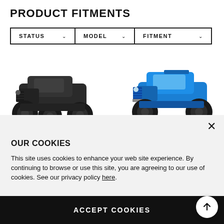PRODUCT FITMENTS
| STATUS | MODEL | FITMENT |
| --- | --- | --- |
[Figure (photo): Two RC monster trucks side by side. Left truck is dark/black colored, right truck is bright blue colored. Both are large monster trucks with oversized tires.]
OUR COOKIES
This site uses cookies to enhance your web site experience. By continuing to browse or use this site, you are agreeing to our use of cookies. See our privacy policy here.
ACCEPT COOKIES